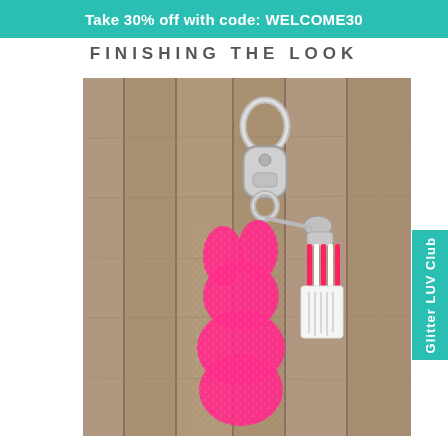Take 30% off with code: WELCOME30
FINISHING THE LOOK
[Figure (photo): A glittery hot pink bunny-shaped keychain accessory attached to a silver lobster clasp key ring, with a pink and white striped ribbon tassel and white leather tassel, laid on a gray wood background.]
Glitter LUV Club